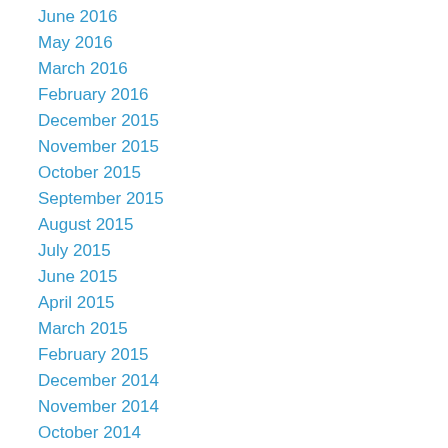June 2016
May 2016
March 2016
February 2016
December 2015
November 2015
October 2015
September 2015
August 2015
July 2015
June 2015
April 2015
March 2015
February 2015
December 2014
November 2014
October 2014
September 2014
August 2014
June 2014